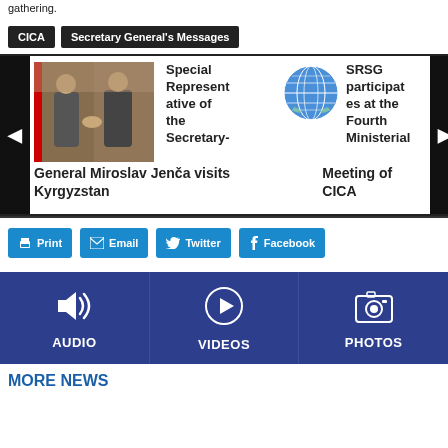gathering.
CICA
Secretary General's Messages
[Figure (screenshot): News slider showing: photo of two men shaking hands, headline 'Special Representative of the Secretary-General Miroslav Jenča visits Kyrgyzstan', UN logo, and partial headline 'SRSG participates at the Fourth Ministerial Meeting of CICA', with left and right navigation arrows]
[Figure (infographic): Social sharing buttons: Print, Email, Twitter, Facebook]
[Figure (infographic): Media navigation bar with three sections: AUDIO (speaker icon), VIDEOS (play button icon), PHOTOS (camera icon)]
MORE NEWS